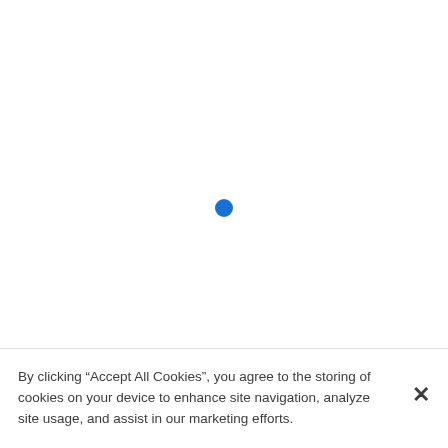[Figure (other): Blue loading spinner dot centered in the upper portion of the page]
By clicking “Accept All Cookies”, you agree to the storing of cookies on your device to enhance site navigation, analyze site usage, and assist in our marketing efforts.